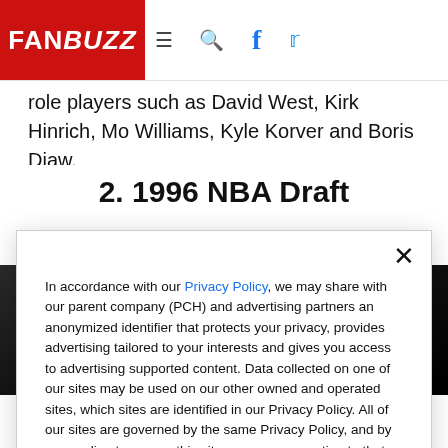FANBUZZ
role players such as David West, Kirk Hinrich, Mo Williams, Kyle Korver and Boris Diaw.
2. 1996 NBA Draft
[Figure (photo): Dark background image, appears to be a basketball-related photo]
In accordance with our Privacy Policy, we may share with our parent company (PCH) and advertising partners an anonymized identifier that protects your privacy, provides advertising tailored to your interests and gives you access to advertising supported content. Data collected on one of our sites may be used on our other owned and operated sites, which sites are identified in our Privacy Policy. All of our sites are governed by the same Privacy Policy, and by proceeding to access this site, you are consenting to that Privacy Policy.